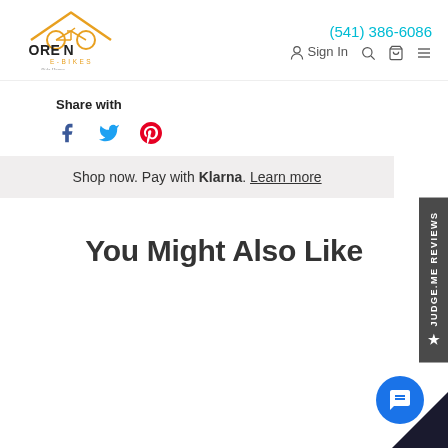[Figure (logo): Oregon E-Bikes logo with bicycle graphic and 'Ride Happy' tagline]
(541) 386-6086
Sign In
Share with
[Figure (infographic): Social sharing icons: Facebook (f), Twitter (bird), Pinterest (P)]
Shop now. Pay with Klarna. Learn more
You Might Also Like
[Figure (infographic): Judge.me Reviews vertical sidebar tab with star icon]
[Figure (infographic): Blue circular chat button with message icon]